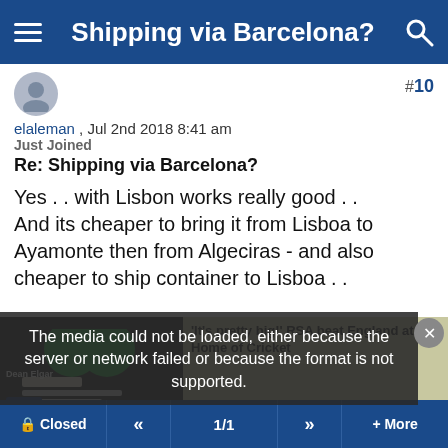Shipping via Barcelona?
elaleman , Jul 2nd 2018 8:41 am
Just Joined
Re: Shipping via Barcelona?
Yes . . with Lisbon works really good . .
And its cheaper to bring it from Lisboa to Ayamonte then from Algeciras - and also cheaper to ship container to Lisboa . .

Good luck . .
[Figure (screenshot): Media error overlay reading: The media could not be loaded, either because the server or network failed or because the format is not supported. Background shows partial cricket news and video thumbnails.]
Closed  «  1/1  »  + More